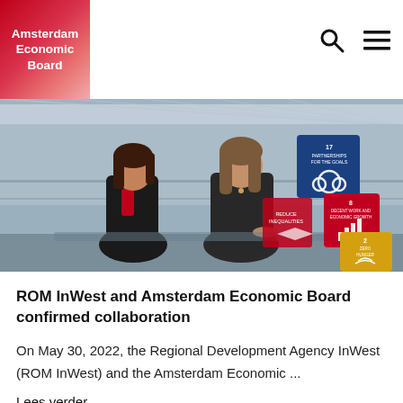Amsterdam Economic Board
[Figure (photo): Two women standing in a modern glass building interior with UN Sustainable Development Goals cubes (SDG 17, SDG 8, SDG 2) visible in the background. They appear to be at a signing event.]
ROM InWest and Amsterdam Economic Board confirmed collaboration
On May 30, 2022, the Regional Development Agency InWest (ROM InWest) and the Amsterdam Economic ...
Lees verder